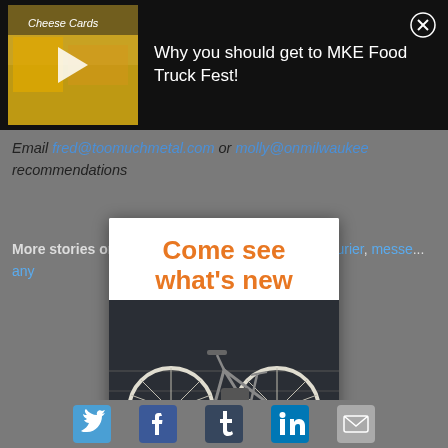[Figure (screenshot): Video thumbnail with play button showing yellow food truck/cheese cards stall]
Why you should get to MKE Food Truck Fest!
Email fred@toomuchmetal.com or molly@onmilwaukee recommendations
More stories on: Milwaukee Harley-Belle bicycle courier, messenger, any
[Figure (illustration): Ad overlay: Come see what's new - vintage bicycle on dark background with Plan your visit button]
Share with someone you care about:
[Figure (infographic): Social sharing icons bar: Twitter, Facebook, Tumblr, LinkedIn, and another icon]